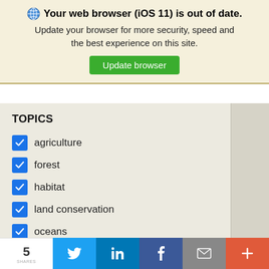Your web browser (iOS 11) is out of date. Update your browser for more security, speed and the best experience on this site. Update browser
TOPICS
agriculture
forest
habitat
land conservation
oceans
public funding
blended finance
cities
5  Twitter  in  f  email  +